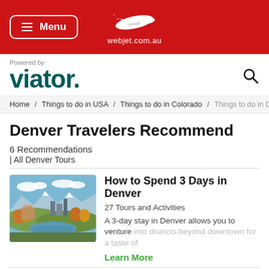Menu | webjet.com.au
[Figure (logo): Webjet airplane logo with webjet.com.au text on red background]
[Figure (logo): Viator logo with 'Powered by' text and search icon]
Home / Things to do in USA / Things to do in Colorado / Things to do in Denver
Denver Travelers Recommend
6 Recommendations
| All Denver Tours
[Figure (photo): Aerial view of Denver city skyline with mountains in background and lake in foreground surrounded by autumn trees]
How to Spend 3 Days in Denver
27 Tours and Activities
A 3-day stay in Denver allows you to venture into districts beyond downtown for a taste of
Learn More